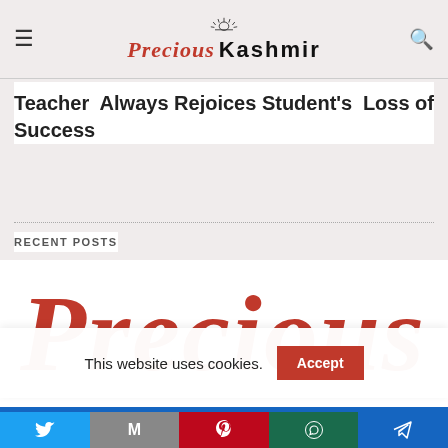Precious Kashmir
Teacher  Always Rejoices Student's Success   Loss of
RECENT POSTS
[Figure (logo): Large red italic 'PRECIOUS' text — the Precious Kashmir logo wordmark in red serif italic font]
This website uses cookies.
Accept